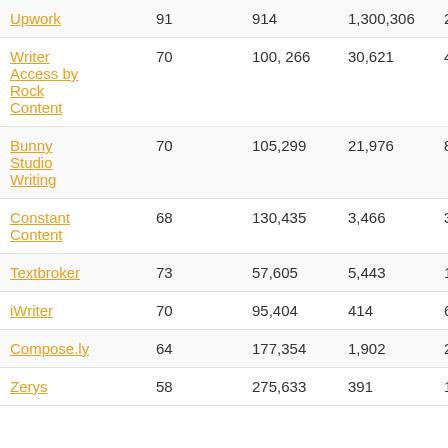| Name | Score | Col3 | Col4 | Col5 |
| --- | --- | --- | --- | --- |
| Upwork | 91 | 914 | 1,300,306 | 249,77 |
| Writer Access by Rock Content | 70 | 100, 266 | 30,621 | 4,025 |
| Bunny Studio Writing | 70 | 105,299 | 21,976 | 8,822 |
| Constant Content | 68 | 130,435 | 3,466 | 3,140 |
| Textbroker | 73 | 57,605 | 5,443 | 1,751 |
| iWriter | 70 | 95,404 | 414 | 642 |
| Compose.ly | 64 | 177,354 | 1,902 | 254 |
| Zerys | 58 | 275,633 | 391 | 1,467 |